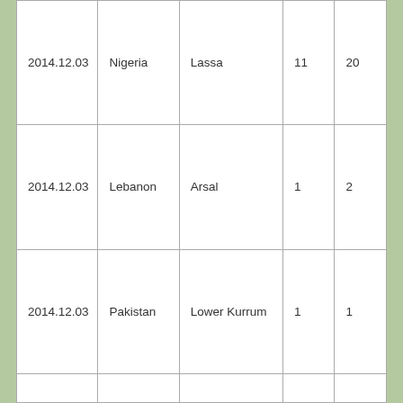| 2014.12.03 | Nigeria | Lassa | 11 | 20 |
| 2014.12.03 | Lebanon | Arsal | 1 | 2 |
| 2014.12.03 | Pakistan | Lower Kurrum | 1 | 1 |
|  |  |  |  |  |